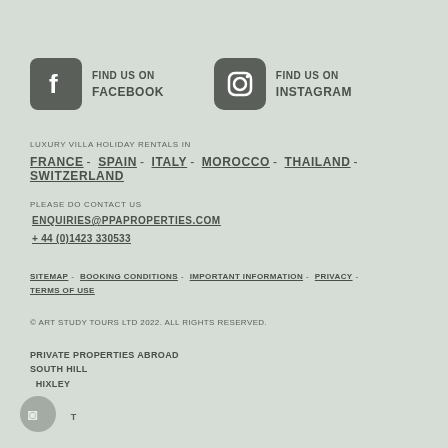[Figure (logo): Facebook icon (white 'f' on grey rounded square) with 'FIND US ON FACEBOOK' text]
[Figure (logo): Instagram icon (camera outline on grey rounded square) with 'FIND US ON INSTAGRAM' text]
LUXURY VILLA HOLIDAY RENTALS IN
FRANCE - SPAIN - ITALY - MOROCCO - THAILAND - SWITZERLAND
PLEASE DO CONTACT US
ENQUIRIES@PPAPROPERTIES.COM
+ 44 (0)1423 330533
SITEMAP - BOOKING CONDITIONS - IMPORTANT INFORMATION - PRIVACY - TERMS OF USE
© ART STUDY TOURS LTD 2022. ALL RIGHTS RESERVED.
PRIVATE PROPERTIES ABROAD
SOUTH HILL
HIXLEY

T